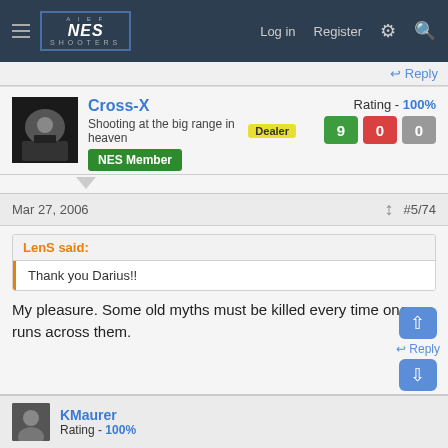NES SHOOTERS — Log in  Register
↩ Reply
Cross-X
Shooting at the big range in heaven  Dealer
NES Member
Rating - 100%
9  0  0
Mar 27, 2006   #5/74
LenS said:
Thank you Darius!!
My pleasure. Some old myths must be killed every time one runs across them.
↩ Reply
KMaurer
Rating - 100%